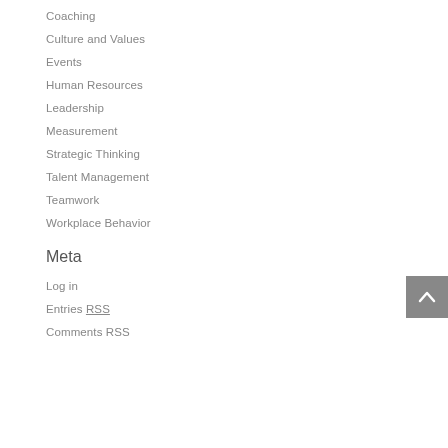Coaching
Culture and Values
Events
Human Resources
Leadership
Measurement
Strategic Thinking
Talent Management
Teamwork
Workplace Behavior
Meta
Log in
Entries RSS
Comments RSS